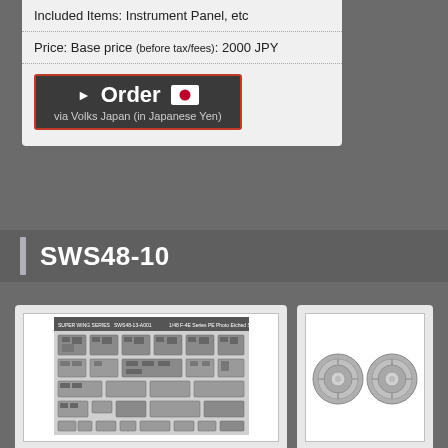Included Items: Instrument Panel, etc
Price: Base price (before tax/fees): 2000 JPY
[Figure (other): Order button with Japanese flag, text 'Order via Volks Japan (in Japanese Yen)']
SWS48-10
[Figure (photo): Product sheet showing 1/48 F-4E Tomcat PE Photo Etched Set parts layout]
[Figure (photo): Product showing two wheel/tire parts]